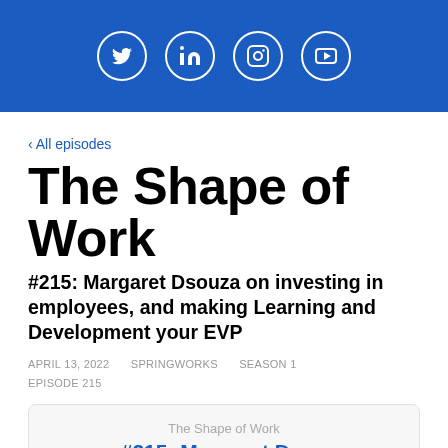[Figure (other): Blue header bar with four social media icons: Twitter (bird), LinkedIn (in), Instagram (camera), YouTube (play button), each in white circle outlines]
‹ All episodes
The Shape of Work
#215: Margaret Dsouza on investing in employees, and making Learning and Development your EVP
APRIL 13, 2022   SPRINGWORKS   SEASON 1   EPISODE 215
[Figure (screenshot): Podcast player card showing 'The Shape of Work' label and '#215: Margaret Dso...' episode title in blue bold text, partially cut off]